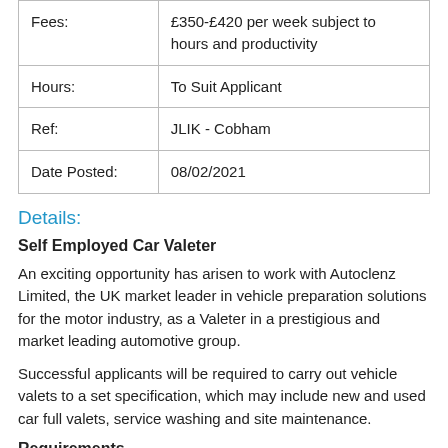| Field | Value |
| --- | --- |
| Fees: | £350-£420 per week subject to hours and productivity |
| Hours: | To Suit Applicant |
| Ref: | JLIK - Cobham |
| Date Posted: | 08/02/2021 |
Details:
Self Employed Car Valeter
An exciting opportunity has arisen to work with Autoclenz Limited, the UK market leader in vehicle preparation solutions for the motor industry, as a Valeter in a prestigious and market leading automotive group.
Successful applicants will be required to carry out vehicle valets to a set specification, which may include new and used car full valets, service washing and site maintenance.
Requirements